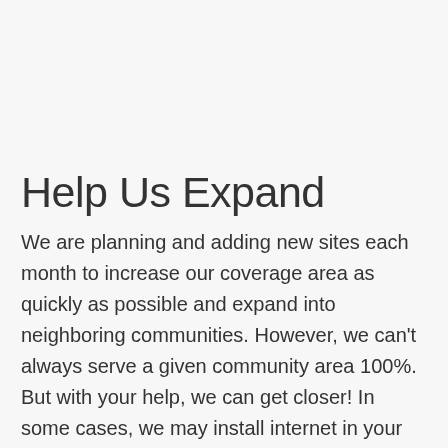Help Us Expand
We are planning and adding new sites each month to increase our coverage area as quickly as possible and expand into neighboring communities. However, we can't always serve a given community area 100%. But with your help, we can get closer! In some cases, we may install internet in your home but are unable to install it for your neighbor down the street due to obstructions or elevation changes. If you have land that is available for a small tower, we are interested in discussing options to